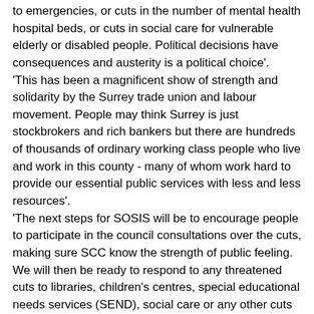to emergencies, or cuts in the number of mental health hospital beds, or cuts in social care for vulnerable elderly or disabled people. Political decisions have consequences and austerity is a political choice'. 'This has been a magnificent show of strength and solidarity by the Surrey trade union and labour movement. People may think Surrey is just stockbrokers and rich bankers but there are hundreds of thousands of ordinary working class people who live and work in this county - many of whom work hard to provide our essential public services with less and less resources'. 'The next steps for SOSIS will be to encourage people to participate in the council consultations over the cuts, making sure SCC know the strength of public feeling. We will then be ready to respond to any threatened cuts to libraries, children's centres, special educational needs services (SEND), social care or any other cuts or closures. We will also be pulling together a people's assembly against the cuts in the new year - involving all of the local trade unions, all the opposition parties and residents and community groups - to develop a people's manifesto and budget for Surrey, based on what is needed, not what the government allows us to spend. We will then go into the next council elections demanding all candidates adopt this budget and make a stand against the cuts'.